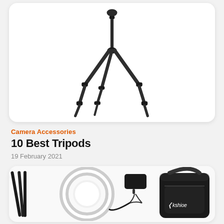[Figure (photo): A professional camera tripod with ball head, shown fully extended on a white background, inside a rounded white card.]
Camera Accessories
10 Best Tripods
19 February 2021
[Figure (photo): Camera ring light with stand, power adapter, cable, and a black Kshioe branded carry bag, shown from above on a white background.]